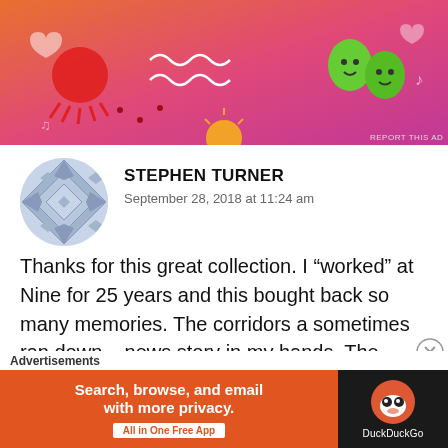[Figure (illustration): Colorful advertisement banner with orange-to-pink gradient background featuring cartoon doodles: a red sun/spider creature, wavy lines, green emoji-style leaf characters, hearts, music notes, and other decorative elements. 'REPORT THIS AD' text in bottom-right corner.]
STEPHEN TURNER
September 28, 2018 at 11:24 am
Thanks for this great collection. I “worked” at Nine for 25 years and this bought back so many memories. The corridors a sometimes ran down – news story in my hands. The videotape department and the vision mixer I used for many years.
Advertisements
[Figure (screenshot): DuckDuckGo advertisement banner. Left side orange background with text 'Search, browse, and email with more privacy.' and 'All in One Free App' button. Right side dark background with DuckDuckGo duck logo and 'DuckDuckGo' text.]